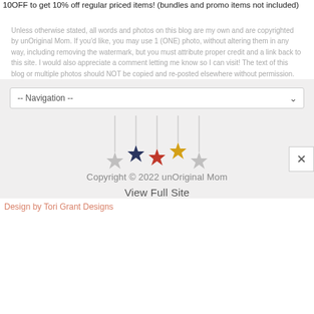10OFF to get 10% off regular priced items! (bundles and promo items not included)
Unless otherwise stated, all words and photos on this blog are my own and are copyrighted by unOriginal Mom. If you'd like, you may use 1 (ONE) photo, without altering them in any way, including removing the watermark, but you must attribute proper credit and a link back to this site. I would also appreciate a comment letting me know so I can visit! The text of this blog or multiple photos should NOT be copied and re-posted elsewhere without permission.
-- Navigation --
[Figure (illustration): Five decorative hanging stars of different colors (gray, navy, red, gold, gray) suspended by thin lines at varying heights]
Copyright © 2022 unOriginal Mom
View Full Site
Design by Tori Grant Designs